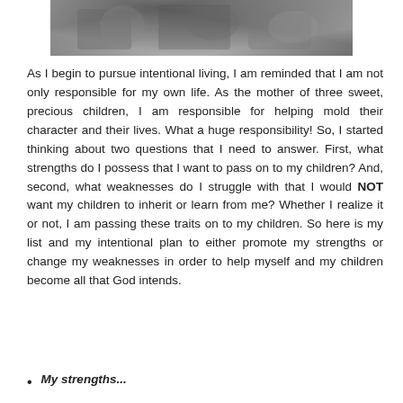[Figure (photo): Black and white photograph of children, partially visible at top of page]
As I begin to pursue intentional living, I am reminded that I am not only responsible for my own life.  As the mother of three sweet, precious children, I am responsible for helping mold their character and their lives.  What a huge responsibility!  So, I started thinking about two questions that I need to answer.  First, what strengths do I possess that I want to pass on to my children?  And, second, what weaknesses do I struggle with that I would NOT want my children to inherit or learn from me? Whether I realize it or not, I am passing these traits on to my children. So here is my list and my intentional plan to either promote my strengths or change my weaknesses in order to help myself and my children become all that God intends.
My strengths...